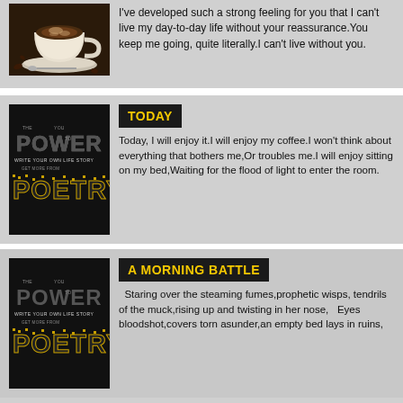[Figure (photo): Cup of coffee with foam on a saucer, dark background with coffee beans]
I've developed such a strong feeling for you that I can't live my day-to-day life without your reassurance.You keep me going, quite literally.I can't live without you.
[Figure (illustration): Black book cover reading THE POWER TO WRITE YOUR OWN LIFE STORY with POETRY in gold/yellow pixelated letters]
TODAY
Today, I will enjoy it.I will enjoy my coffee.I won't think about everything that bothers me,Or troubles me.I will enjoy sitting on my bed,Waiting for the flood of light to enter the room.
[Figure (illustration): Black book cover reading THE POWER TO WRITE YOUR OWN LIFE STORY with POETRY in gold/yellow pixelated letters]
A MORNING BATTLE
Staring over the steaming fumes,prophetic wisps, tendrils of the muck,rising up and twisting in her nose,   Eyes bloodshot,covers torn asunder,an empty bed lays in ruins,